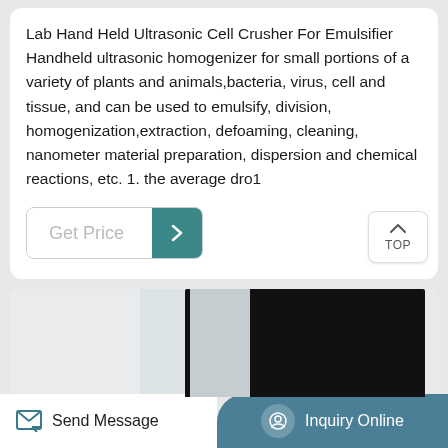Lab Hand Held Ultrasonic Cell Crusher For Emulsifier Handheld ultrasonic homogenizer for small portions of a variety of plants and animals,bacteria, virus, cell and tissue, and can be used to emulsify, division, homogenization,extraction, defoaming, cleaning, nanometer material preparation, dispersion and chemical reactions, etc. 1. the average dro1
[Figure (other): Get Price button with teal arrow icon, and TOP navigation button overlay]
[Figure (photo): Product image of ultrasonic cell crusher device, partially visible, showing dark device body against light background]
Send Message   Inquiry Online